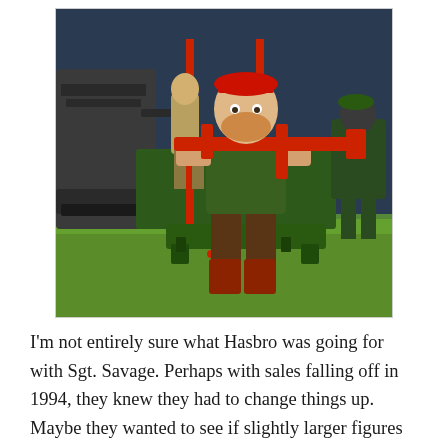[Figure (photo): A G.I. Joe action figure (Sgt. Savage) with a red beret, green shirt, brown pants and red boots, holding a large red weapon, sitting on a green platform. Behind it are other military action figures and vehicles on a green grass-like surface against a blue-grey background.]
I'm not entirely sure what Hasbro was going for with Sgt. Savage. Perhaps with sales falling off in 1994, they knew they had to change things up. Maybe they wanted to see if slightly larger figures resonated more with kids.